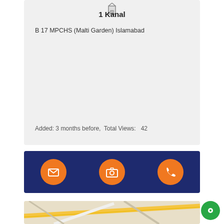1 Kanal
B 17 MPCHS (Malti Garden) Islamabad
Added: 3 months before,  Total Views:   42
[Figure (infographic): Dark navy blue action bar with three orange circular icon buttons: envelope/email icon, camera icon, and phone icon]
[Figure (map): Map section showing road/street layout with yellow road lines on light beige background]